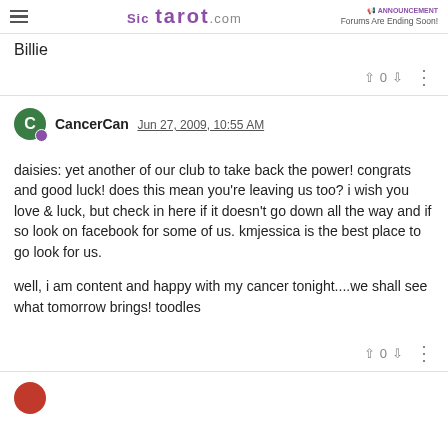≡ Sic tarot.com | ANNOUNCEMENT Forums Are Ending Soon!
Billie
▲ 0 ▼ ⋮
CancerCan Jun 27, 2009, 10:55 AM
daisies: yet another of our club to take back the power! congrats and good luck! does this mean you're leaving us too? i wish you love & luck, but check in here if it doesn't go down all the way and if so look on facebook for some of us. kmjessica is the best place to go look for us.

well, i am content and happy with my cancer tonight....we shall see what tomorrow brings! toodles
▲ 0 ▼ ⋮